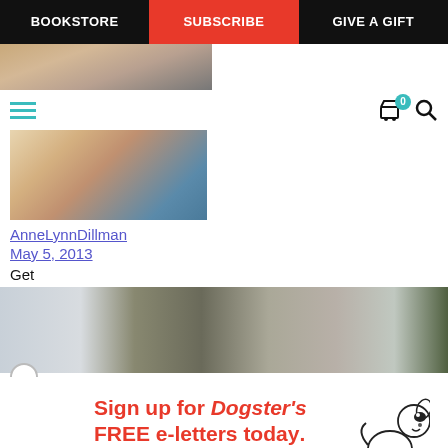BOOKSTORE  SUBSCRIBE  GIVE A GIFT
[Figure (screenshot): Partial photo of a person with blonde hair and pink/red top, cropped at chin level]
[Figure (screenshot): Hamburger menu icon in teal, cart icon with badge showing 0, and search magnifier icon]
[Figure (photo): Partial portrait photo of a person]
AnneLynnDillman
May 5, 2013
Get
[Figure (photo): Wide article image showing exterior scene with various colors]
Sign up for Dogster's FREE e-letters today.
Get health advice, nutrition information and training tips from our experts. It's FREE!
Enter your Email